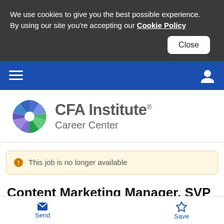We use cookies to give you the best possible experience. By using our site you're accepting our Cookie Policy
CFA Institute Career Center
This job is no longer available
Content Marketing Manager, SVP
Send  Save